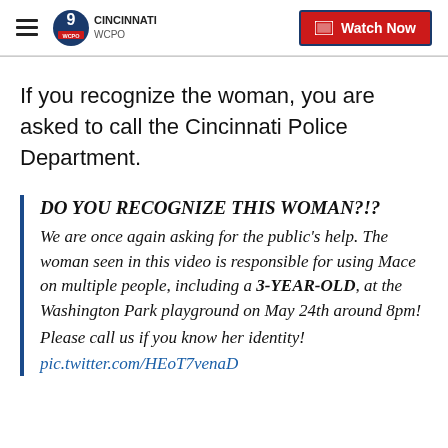WCPO 9 CINCINNATI | Watch Now
If you recognize the woman, you are asked to call the Cincinnati Police Department.
DO YOU RECOGNIZE THIS WOMAN?!? We are once again asking for the public's help. The woman seen in this video is responsible for using Mace on multiple people, including a 3-YEAR-OLD, at the Washington Park playground on May 24th around 8pm! Please call us if you know her identity! pic.twitter.com/HEoT7venaD